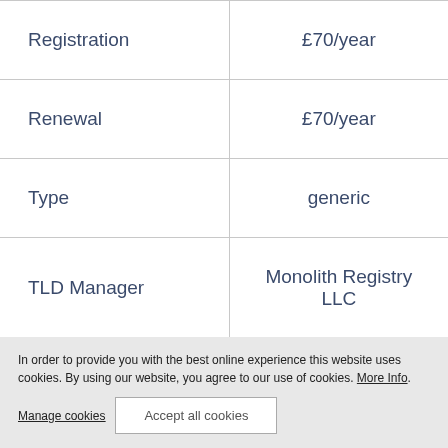|  |  |
| --- | --- |
| Registration | £70/year |
| Renewal | £70/year |
| Type | generic |
| TLD Manager | Monolith Registry LLC |
| Registered .voto domains (~) | not available |
In order to provide you with the best online experience this website uses cookies. By using our website, you agree to our use of cookies. More Info.
Manage cookies   Accept all cookies